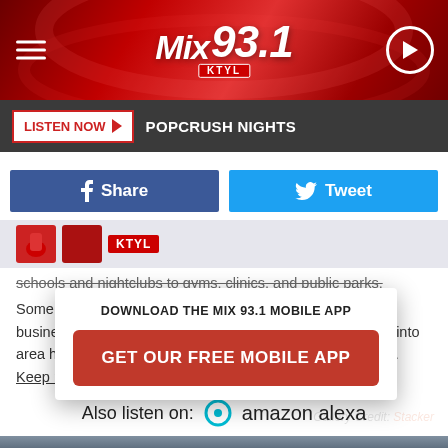[Figure (screenshot): Mix 93.1 KTYL radio station header with red swirling background, hamburger menu icon on left, Mix 93.1 KTYL logo in center, play button circle on right]
LISTEN NOW ▶  POPCRUSH NIGHTS
f  Share
🐦  Tweet
schools and nightclubs to gyms, clinics, and public parks. Some areas have enjoyed rapid growth thanks to new businesses moving to the area, while others offer glimpses into area history with well-preserved architecture and museums. Keep reading to see if your hometown made the list.
DOWNLOAD THE MIX 93.1 MOBILE APP
GET OUR FREE MOBILE APP
Gallery Credit: Stacker
Also listen on:  amazon alexa